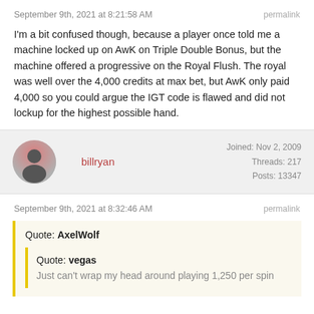September 9th, 2021 at 8:21:58 AM | permalink
I'm a bit confused though, because a player once told me a machine locked up on AwK on Triple Double Bonus, but the machine offered a progressive on the Royal Flush. The royal was well over the 4,000 credits at max bet, but AwK only paid 4,000 so you could argue the IGT code is flawed and did not lockup for the highest possible hand.
billryan | Joined: Nov 2, 2009 | Threads: 217 | Posts: 13347
September 9th, 2021 at 8:32:46 AM | permalink
Quote: AxelWolf
Quote: vegas
Just can't wrap my head around playing 1,250 per spin